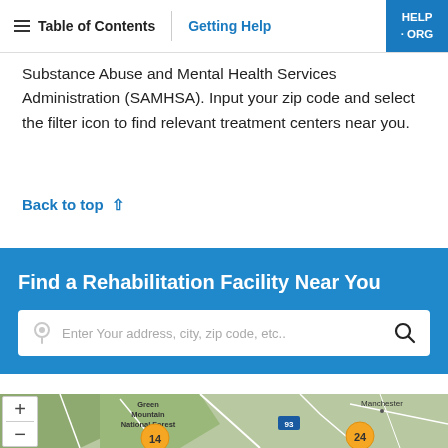Table of Contents | Getting Help | HELP · ORG
Substance Abuse and Mental Health Services Administration (SAMHSA). Input your zip code and select the filter icon to find relevant treatment centers near you.
Back to top ^
Find a Rehabilitation Facility Near You
Enter Your address, city, zip code, etc..
[Figure (map): Interactive map showing Green Mountain National Forest area with Manchester label and cluster markers showing 14 and 24 rehabilitation facilities, with zoom in/out controls]